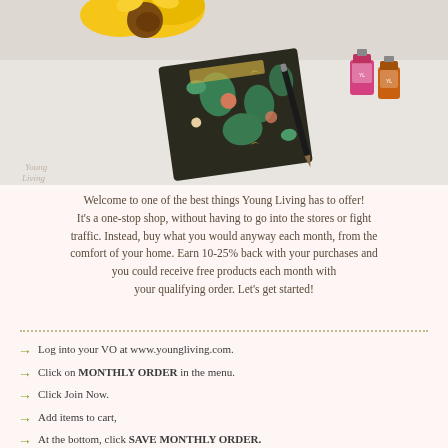[Figure (photo): Flat lay photo showing a dark floral-patterned planner/journal, a pen, small essential oil bottles, and a sunflower on a light background. Young Living logo watermark visible.]
Welcome to one of the best things Young Living has to offer! It's a one-stop shop, without having to go into the stores or fight traffic. Instead, buy what you would anyway each month, from the comfort of your home. Earn 10-25% back with your purchases and you could receive free products each month with your qualifying order. Let's get started!
Log into your VO at www.youngliving.com.
Click on MONTHLY ORDER in the menu.
Click Join Now.
Add items to cart,
At the bottom, click SAVE MONTHLY ORDER.
Pick shipping options, choose the date, and add payment method.
Save.
Make sure to have PV ASSISTANT set up!